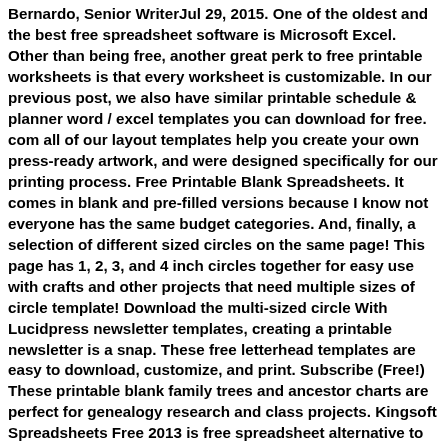Bernardo, Senior WriterJul 29, 2015. One of the oldest and the best free spreadsheet software is Microsoft Excel. Other than being free, another great perk to free printable worksheets is that every worksheet is customizable. In our previous post, we also have similar printable schedule & planner word / excel templates you can download for free. com all of our layout templates help you create your own press-ready artwork, and were designed specifically for our printing process. Free Printable Blank Spreadsheets. It comes in blank and pre-filled versions because I know not everyone has the same budget categories. And, finally, a selection of different sized circles on the same page! This page has 1, 2, 3, and 4 inch circles together for easy use with crafts and other projects that need multiple sizes of circle template! Download the multi-sized circle With Lucidpress newsletter templates, creating a printable newsletter is a snap. These free letterhead templates are easy to download, customize, and print. Subscribe (Free!) These printable blank family trees and ancestor charts are perfect for genealogy research and class projects. Kingsoft Spreadsheets Free 2013 is free spreadsheet alternative to Microsoft's offering, Excel, which offers a wide range of easy-to-use features that will suit both beginners and advanced users, alike. 118+ Sheets Documents. Use them to help you organize your home and your life. The first set has bigger and fewer spaces – good for smaller kids or artists who want to ad LOTS